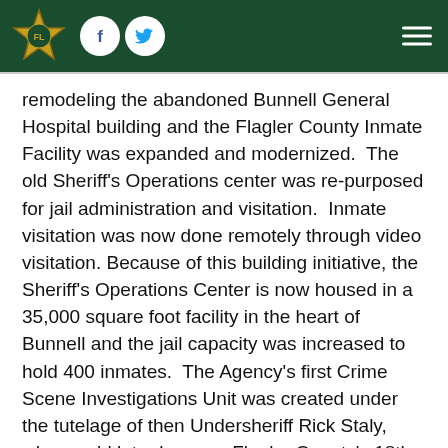Flagler County Sheriff's Office website header with logo, Facebook, Twitter icons, and hamburger menu
remodeling the abandoned Bunnell General Hospital building and the Flagler County Inmate Facility was expanded and modernized.  The old Sheriff's Operations center was re-purposed for jail administration and visitation.  Inmate visitation was now done remotely through video visitation.  Because of this building initiative, the Sheriff's Operations Center is now housed in a 35,000 square foot facility in the heart of Bunnell and the jail capacity was increased to hold 400 inmates.  The Agency's first Crime Scene Investigations Unit was created under the tutelage of then Undersheriff Rick Staly, who would later become Flagler County's 18th Sheriff.
Sheriff Manfre also worked to increase programs protecting the elderly in Flagler County with the